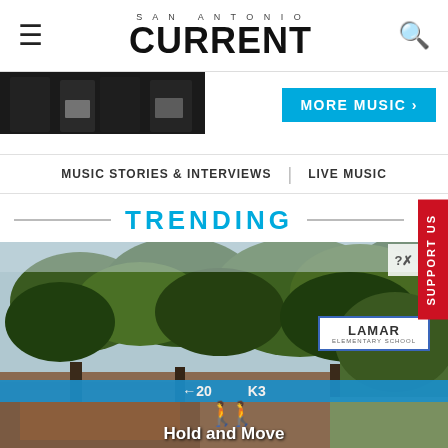SAN ANTONIO CURRENT
[Figure (photo): Partial cropped photo of people in black clothing at top left]
MORE MUSIC »
MUSIC STORIES & INTERVIEWS | LIVE MUSIC
TRENDING
[Figure (photo): Outdoor photo with trees and Lamar Elementary School sign visible, with overlay ad bar showing walking figure icon and Hold and Move text]
Hold and Move